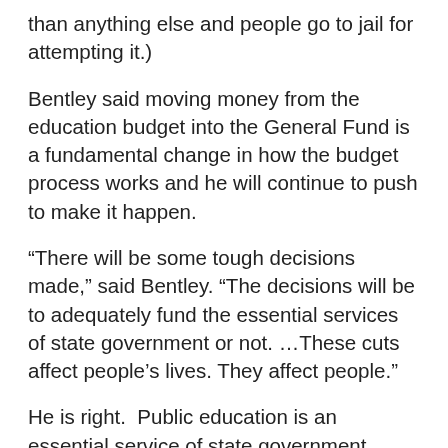than anything else and people go to jail for attempting it.)
Bentley said moving money from the education budget into the General Fund is a fundamental change in how the budget process works and he will continue to push to make it happen.
“There will be some tough decisions made,” said Bentley. “The decisions will be to adequately fund the essential services of state government or not. …These cuts affect people’s lives. They affect people.”
He is right.  Public education is an essential service of state government. Many would say that it is the MOST essential service. And yes, it does affect the lives of people, a great many of whom are less than 10 years of age. We have 300,000 children in Alabama in poverty. You could fill up Bryant-Denny Stadium in Tuscaloosa THREE times with just children of poverty.
Unfortunately, try as we might, many of them will never escape the grasp of poverty.  But those who